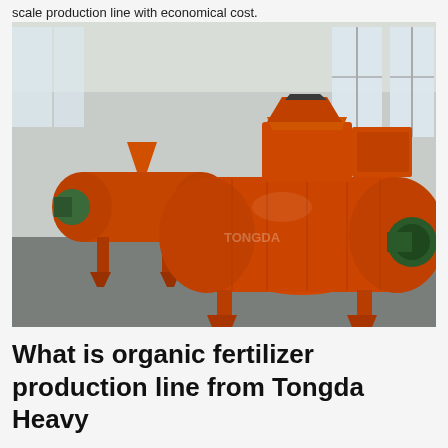scale production line with economical cost.
[Figure (photo): Industrial orange-painted fertilizer production machine (drum granulator/mixer) on a factory floor, with multiple similar machines visible in the background. Factory has large windows letting in natural light.]
What is organic fertilizer production line from Tongda Heavy